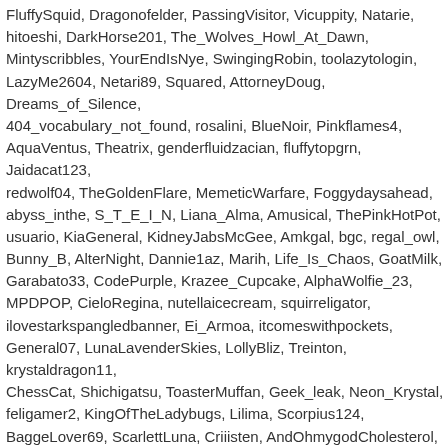FluffySquid, Dragonofelder, PassingVisitor, Vicuppity, Natarie, hitoeshi, DarkHorse201, The_Wolves_Howl_At_Dawn, Mintyscribbles, YourEndIsNye, SwingingRobin, toolazytologin, LazyMe2604, Netari89, Squared, AttorneyDoug, Dreams_of_Silence, 404_vocabulary_not_found, rosalini, BlueNoir, Pinkflames4, AquaVentus, Theatrix, genderfluidzacian, fluffytopgrn, Jaidacat123, redwolf04, TheGoldenFlare, MemeticWarfare, Foggydaysahead, abyss_inthe, S_T_E_I_N, Liana_Alma, Amusical, ThePinkHotPot, usuario, KiaGeneral, KidneyJabsMcGee, Amkgal, bgc, regal_owl, Bunny_B, AlterNight, Dannie1az, Marih, Life_Is_Chaos, GoatMilk, Garabato33, CodePurple, Krazee_Cupcake, AlphaWolfie_23, MPDPOP, CieloRegina, nutellaicecream, squirreligator, ilovestarkspangledbanner, Ei_Armoa, itcomeswithpockets, General07, LunaLavenderSkies, LollyBliz, Treinton, krystaldragon11, ChessCat, Shichigatsu, ToasterMuffan, Geek_leak, Neon_Krystal, feligamer2, KingOfTheLadybugs, Lilima, Scorpius124, BaggeLover69, ScarlettLuna, Criiisten, AndOhmygodCholesterol, ComicalDream01, FXCF, Rensa, Spicycat, Izukuparkeruzamaki, MediocreSavant, SkyDragonM, Elder_Cryptid, Godmeow24,